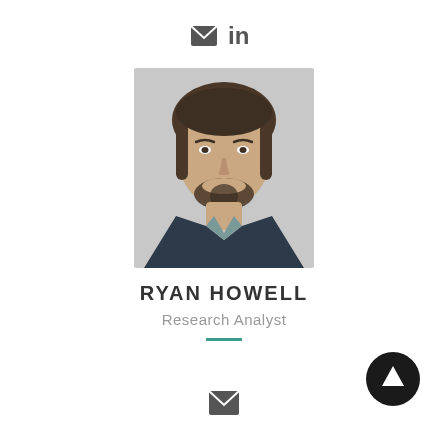[Figure (other): Top navigation icons: email envelope and LinkedIn logo]
[Figure (photo): Professional headshot of Ryan Howell, a man in a dark blazer with short dark hair and beard, smiling]
RYAN HOWELL
Research Analyst
[Figure (other): Small teal/green horizontal divider line]
[Figure (other): Email envelope icon at bottom center]
[Figure (other): Black circular up-arrow button at bottom right]